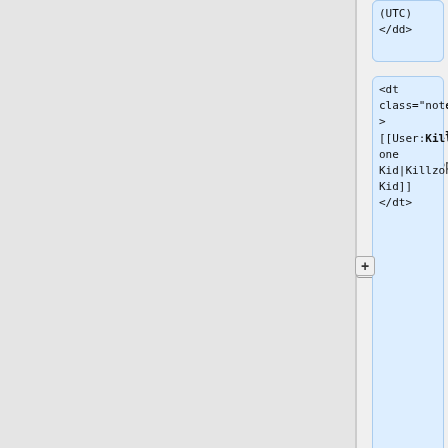(UTC)</dd>
<dt class="note">[[User:KillzoneKid|KillzoneKid]]</dt>
<dd class="note">
{{hl|_units}} param is supposed to return what [[groupSelectedUnits]] returns. Player must